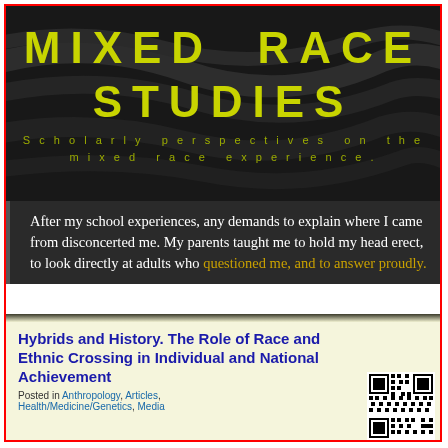MIXED RACE STUDIES
Scholarly perspectives on the mixed race experience.
After my school experiences, any demands to explain where I came from disconcerted me. My parents taught me to hold my head erect, to look directly at adults who questioned me, and to answer proudly.
Hybrids and History. The Role of Race and Ethnic Crossing in Individual and National Achievement
Posted in Anthropology, Articles, Health/Medicine/Genetics, Media
[Figure (other): QR code]